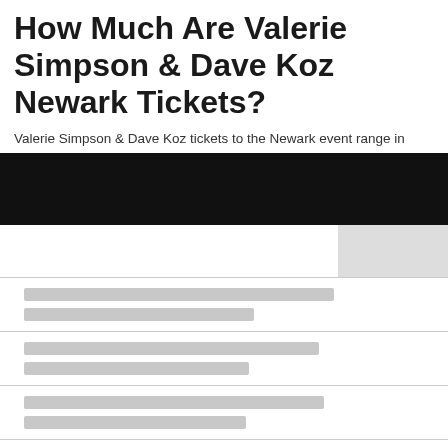How Much Are Valerie Simpson & Dave Koz Newark Tickets?
Valerie Simpson & Dave Koz tickets to the Newark event range in
[Figure (other): Dark black banner bar across the full width of the page]
| [placeholder text line 1] | [placeholder text line 2] |
| [placeholder text line 1] | [placeholder text line 2] |
| [placeholder text line 1] | [placeholder text line 2] |
| [placeholder text line 1] | [placeholder text line 2] |
| [placeholder text line 1] | [placeholder text line 2] |
| [placeholder text line 1] | [placeholder text line 2] |